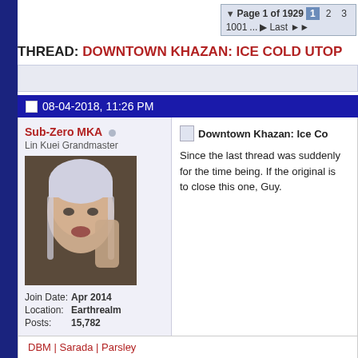Page 1 of 1929  1  2  3  1001 ...  ▶  Last ▶▶
THREAD: DOWNTOWN KHAZAN: ICE COLD UTOP
08-04-2018, 11:26 PM
Sub-Zero MKA
Lin Kuei Grandmaster
Join Date: Apr 2014
Location: Earthrealm
Posts: 15,782
Downtown Khazan: Ice Co
Since the last thread was suddenly for the time being. If the original is to close this one, Guy.
DBM | Sarada | Parsley